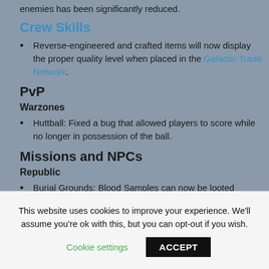enemies has been significantly reduced.
Crew Skills
Reverse-engineered and crafted items will now display the proper quality level when placed in the Galactic Trade Network.
PvP
Warzones
Huttball: Fixed a bug that allowed players to score while no longer in possession of the ball.
Missions and NPCs
Republic
Burial Grounds: Blood Samples can now be looted
This website uses cookies to improve your experience. We'll assume you're ok with this, but you can opt-out if you wish.
Cookie settings   ACCEPT